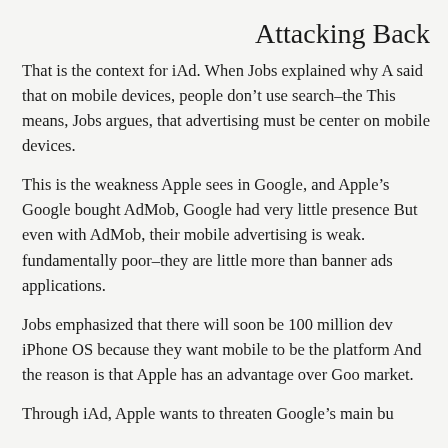Attacking Back
That is the context for iAd. When Jobs explained why A said that on mobile devices, people don't use search–the This means, Jobs argues, that advertising must be center on mobile devices.
This is the weakness Apple sees in Google, and Apple's Google bought AdMob, Google had very little presence But even with AdMob, their mobile advertising is weak. fundamentally poor–they are little more than banner ads applications.
Jobs emphasized that there will soon be 100 million dev iPhone OS because they want mobile to be the platform And the reason is that Apple has an advantage over Goo market.
Through iAd, Apple wants to threaten Google's main bu